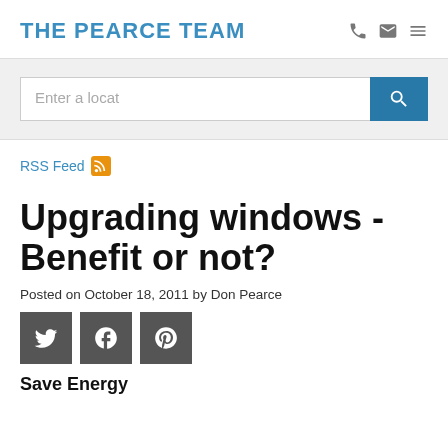THE PEARCE TEAM
[Figure (screenshot): Search bar with text 'Enter a locat' and blue search button with magnifying glass icon]
RSS Feed
Upgrading windows - Benefit or not?
Posted on October 18, 2011 by Don Pearce
[Figure (other): Social share buttons: Twitter, Facebook, Pinterest]
Save Energy